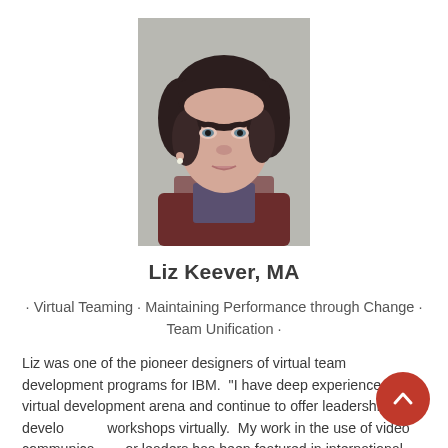[Figure (photo): Professional headshot of a woman with short dark hair, wearing a dark red/maroon top, against a neutral grey background.]
Liz Keever, MA
· Virtual Teaming · Maintaining Performance through Change · Team Unification ·
Liz was one of the pioneer designers of virtual team development programs for IBM.  "I have deep experience in the virtual development arena and continue to offer leadership development workshops virtually.  My work in the use of video communication for leaders has been featured in international research papers in the